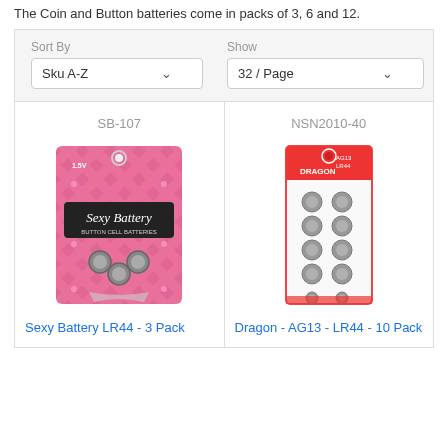The Coin and Button batteries come in packs of 3, 6 and 12.
Sort By
Sku A-Z
Show
32 / Page
[Figure (photo): Product listing showing two battery packs: SB-107 Sexy Battery LR44 3-Pack (pink packaging) and NSN2010-40 Dragon AG13 LR44 10-Pack (white packaging with red accents)]
SB-107
NSN2010-40
Sexy Battery LR44 - 3 Pack
Dragon - AG13 - LR44 - 10 Pack